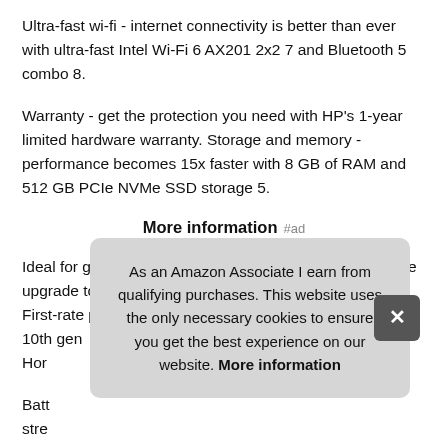Ultra-fast wi-fi - internet connectivity is better than ever with ultra-fast Intel Wi-Fi 6 AX201 2x2 7 and Bluetooth 5 combo 8.
Warranty - get the protection you need with HP's 1-year limited hardware warranty. Storage and memory - performance becomes 15x faster with 8 GB of RAM and 512 GB PCIe NVMe SSD storage 5.
More information #ad
Ideal for gaming, studying, streaming, and business. Free upgrade to windows 11 12 when available, see below. First-rate processing - top-notch performance using the 10th gen... Hor...
Batt... stre...
As an Amazon Associate I earn from qualifying purchases. This website uses the only necessary cookies to ensure you get the best experience on our website. More information